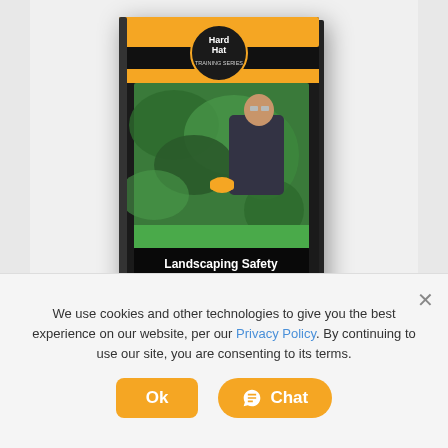[Figure (illustration): Hard Hat Training Series book cover for Landscaping Safety, showing a person trimming hedges with orange gloves. Black and orange branding design with the title 'Landscaping Safety' at the bottom.]
LANDSCAPING SAFETY TRAINER CERTIFICATION
We use cookies and other technologies to give you the best experience on our website, per our Privacy Policy. By continuing to use our site, you are consenting to its terms.